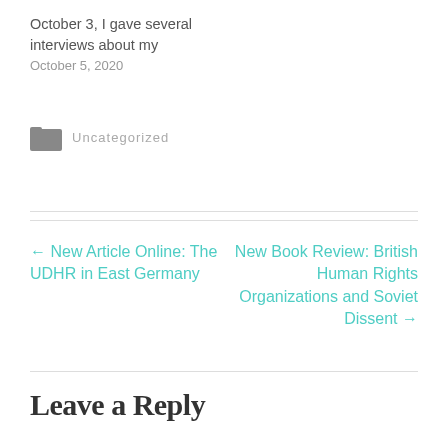October 3, I gave several interviews about my
October 5, 2020
Uncategorized
← New Article Online: The UDHR in East Germany
New Book Review: British Human Rights Organizations and Soviet Dissent →
Leave a Reply